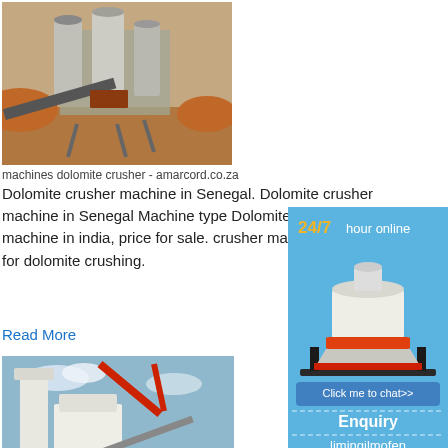[Figure (photo): Industrial dolomite crushing plant with machinery, conveyor belts, and storage silos in an arid outdoor setting.]
machines dolomite crusher - amarcord.co.za
Dolomite crusher machine in Senegal. Dolomite crusher machine in Senegal Machine type Dolomite stone crusher machine in india, price for sale. crusher ma... for dolomite crushing.
Read More
[Figure (photo): Industrial dolomite crushing facility with white silos, conveyor belts, and red structural elements against a blue sky.]
machine for dolomite crushing -
Dolomite crusher machine in Senegal Mach...
[Figure (infographic): Sidebar advertisement with blue background showing: '24/7 hour online' text in gold and white, a cone crusher machine image, a 'Click me to chat>>' button, 'Enquiry' section, and 'limingjlmofen' text.]